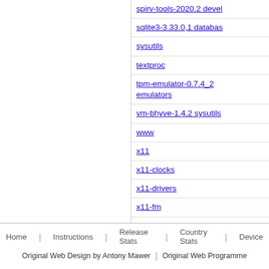spirv-tools-2020.2 devel
sqlite3-3.33.0,1 databas
sysutils
textproc
tpm-emulator-0.7.4_2 emulators
vm-bhyve-1.4.2 sysutils
www
x11
x11-clocks
x11-drivers
x11-fm
x11-fonts
x11-servers
x11-themes
x11-toolkits
x11-wm
xfce4-notifyd-0.2.4_1 deskutils
ytnef-2.0,1 converters
Home | Instructions | Release Stats | Country Stats | Device | Original Web Design by Antony Mawer | Original Web Programme